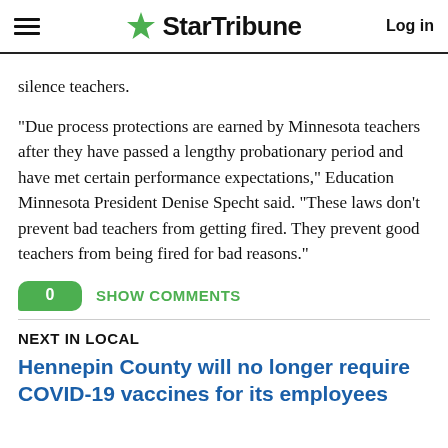StarTribune  Log in
silence teachers.
“Due process protections are earned by Minnesota teachers after they have passed a lengthy probationary period and have met certain performance expectations,” Education Minnesota President Denise Specht said. “These laws don’t prevent bad teachers from getting fired. They prevent good teachers from being fired for bad reasons.”
0  SHOW COMMENTS
NEXT IN LOCAL
Hennepin County will no longer require COVID-19 vaccines for its employees